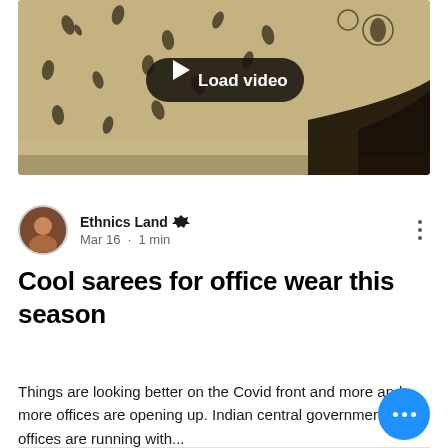[Figure (screenshot): Video thumbnail showing Indian fabric/saree with floral/leaf block-print pattern in cream and dark brown colors, with a dark Load video button overlay in the center]
Ethnics Land 👑
Mar 16 · 1 min
Cool sarees for office wear this season
Things are looking better on the Covid front and more and more offices are opening up. Indian central government offices are running with...
👁 42   💬 0